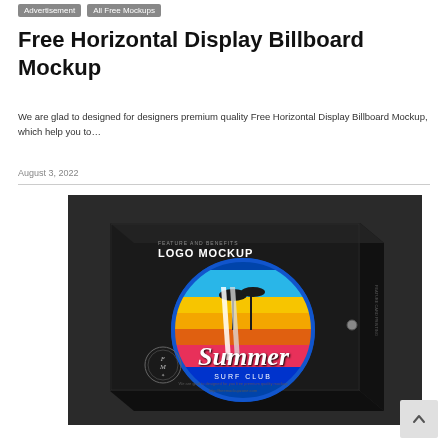Advertisement | All Free Mockups
Free Horizontal Display Billboard Mockup
We are glad to designed for designers premium quality Free Horizontal Display Billboard Mockup, which help you to…
August 3, 2022
[Figure (photo): A black horizontal display billboard mockup box featuring a Summer Surf Club logo design with a sunset, palm trees, and surfboards on a dark textured background. Includes a circular badge logo and text placeholders on the box sides.]